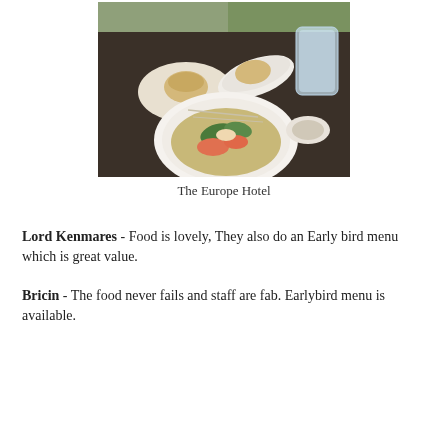[Figure (photo): Outdoor dining table at The Europe Hotel with a bowl of seafood stew, bread rolls, and a glass pitcher of water on a dark wicker table.]
The Europe Hotel
Lord Kenmares - Food is lovely, They also do an Early bird menu which is great value.
Bricin - The food never fails and staff are fab. Earlybird menu is available.